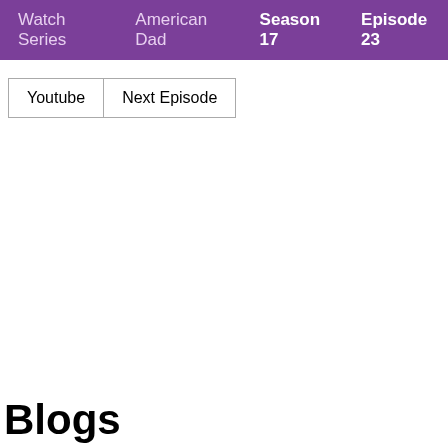Watch Series  American Dad  Season 17  Episode 23
| Youtube | Next Episode |
| --- | --- |
Blogs